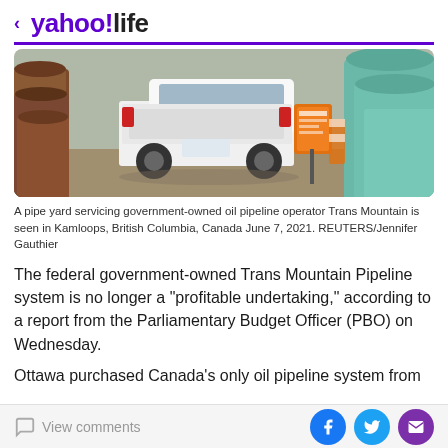< yahoo!life
[Figure (photo): A white pickup truck seen from behind at a pipe yard construction site, with large orange/green pipes stacked on either side, an orange sign visible in the background.]
A pipe yard servicing government-owned oil pipeline operator Trans Mountain is seen in Kamloops, British Columbia, Canada June 7, 2021. REUTERS/Jennifer Gauthier
The federal government-owned Trans Mountain Pipeline system is no longer a "profitable undertaking," according to a report from the Parliamentary Budget Officer (PBO) on Wednesday.
Ottawa purchased Canada's only oil pipeline system from